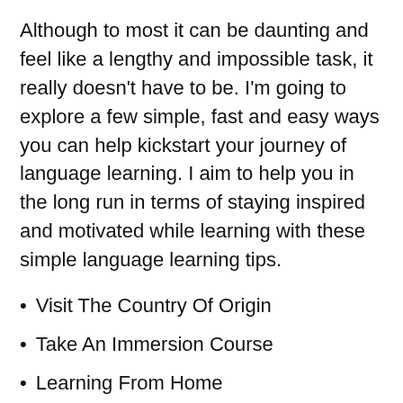Although to most it can be daunting and feel like a lengthy and impossible task, it really doesn't have to be. I'm going to explore a few simple, fast and easy ways you can help kickstart your journey of language learning. I aim to help you in the long run in terms of staying inspired and motivated while learning with these simple language learning tips.
Visit The Country Of Origin
Take An Immersion Course
Learning From Home
Talk To Yourself